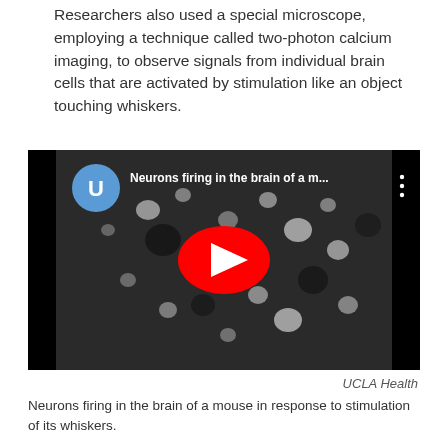Researchers also used a special microscope, employing a technique called two-photon calcium imaging, to observe signals from individual brain cells that are activated by stimulation like an object touching whiskers.
[Figure (screenshot): YouTube video thumbnail showing neurons firing in the brain of a mouse. The video has a black background with a grayscale microscopy image showing bright spots (neurons firing). A red YouTube play button is in the center. In the upper left, a blue circular UCLA logo with 'U' is shown, alongside the title 'Neurons firing in the brain of a m...' A three-dot menu icon appears in the upper right.]
UCLA Health
Neurons firing in the brain of a mouse in response to stimulation of its whiskers.